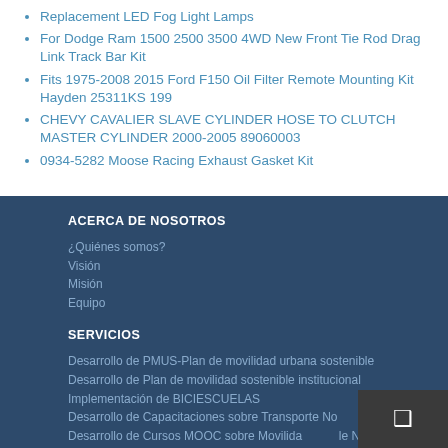Replacement LED Fog Light Lamps
For Dodge Ram 1500 2500 3500 4WD New Front Tie Rod Drag Link Track Bar Kit
Fits 1975-2008 2015 Ford F150 Oil Filter Remote Mounting Kit Hayden 25311KS 199
CHEVY CAVALIER SLAVE CYLINDER HOSE TO CLUTCH MASTER CYLINDER 2000-2005 89060003
0934-5282 Moose Racing Exhaust Gasket Kit
ACERCA DE NOSOTROS
¿Quiénes somos?
Visión
Misión
Equipo
SERVICIOS
Desarrollo de PMUS-Plan de movilidad urbana sostenible
Desarrollo de Plan de movilidad sostenible institucional
Implementación de BICIESCUELAS
Desarrollo de Capacitaciones sobre Transporte No Motorizado
Desarrollo de Cursos MOOC sobre Movilidad Sostenible No